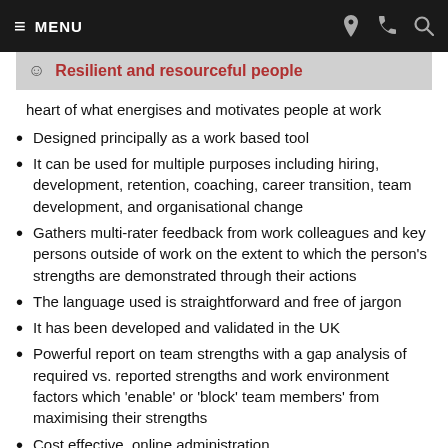≡ MENU
Resilient and resourceful people
heart of what energises and motivates people at work
Designed principally as a work based tool
It can be used for multiple purposes including hiring, development, retention, coaching, career transition, team development, and organisational change
Gathers multi-rater feedback from work colleagues and key persons outside of work on the extent to which the person's strengths are demonstrated through their actions
The language used is straightforward and free of jargon
It has been developed and validated in the UK
Powerful report on team strengths with a gap analysis of required vs. reported strengths and work environment factors which 'enable' or 'block' team members' from maximising their strengths
Cost effective, online administration